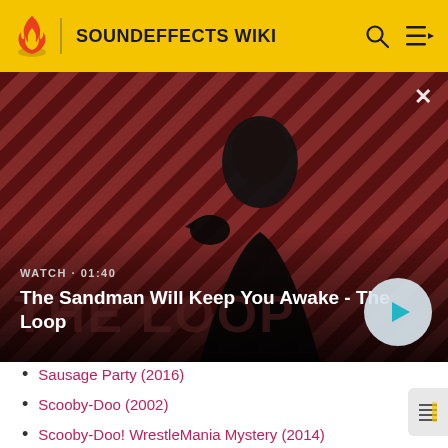SOUNDEFFECTS WIKI
[Figure (screenshot): Video thumbnail showing a dark figure with a raven on shoulder against a red diagonal-striped background. Text overlay: WATCH · 01:40, The Sandman Will Keep You Awake - The Loop]
Sausage Party (2016)
Scooby-Doo (2002)
Scooby-Doo! WrestleMania Mystery (2014)
Scooby-Doo! Frankencreepy (2014)
Shrek (2001)
Sing (2016)